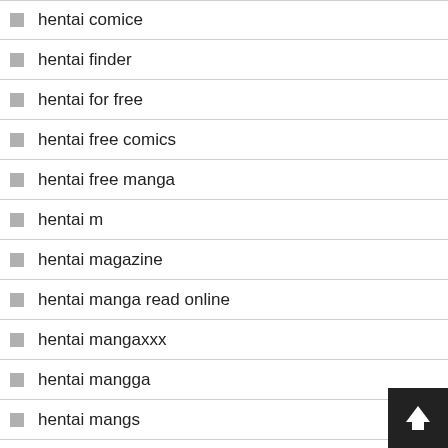hentai comice
hentai finder
hentai for free
hentai free comics
hentai free manga
hentai m
hentai magazine
hentai manga read online
hentai mangaxxx
hentai mangga
hentai mangs